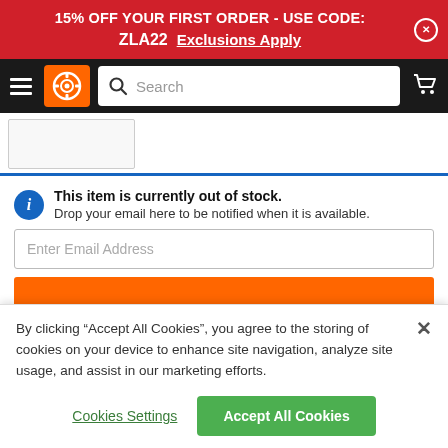15% OFF YOUR FIRST ORDER - USE CODE: ZLA22  Exclusions Apply
[Figure (screenshot): Navigation bar with hamburger menu, orange logo with film reel icon, search box, and shopping cart icon]
[Figure (screenshot): Partial product image stub box]
This item is currently out of stock.
Drop your email here to be notified when it is available.
Enter Email Address
By clicking “Accept All Cookies”, you agree to the storing of cookies on your device to enhance site navigation, analyze site usage, and assist in our marketing efforts.
Cookies Settings
Accept All Cookies